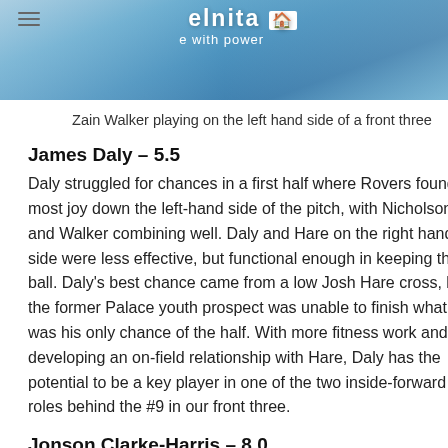[Figure (photo): Zain Walker in a blue and white jersey playing on the left hand side of a front three, cropped showing upper body]
Zain Walker playing on the left hand side of a front three
James Daly – 5.5
Daly struggled for chances in a first half where Rovers found most joy down the left-hand side of the pitch, with Nicholson and Walker combining well. Daly and Hare on the right hand side were less effective, but functional enough in keeping the ball. Daly's best chance came from a low Josh Hare cross, but the former Palace youth prospect was unable to finish what was his only chance of the half. With more fitness work and developing an on-field relationship with Hare, Daly has the potential to be a key player in one of the two inside-forward roles behind the #9 in our front three.
Jonson Clarke-Harris – 8.0
No surprises here, it was almost a given that Jonno would be the man to score the first Rovers goal since the